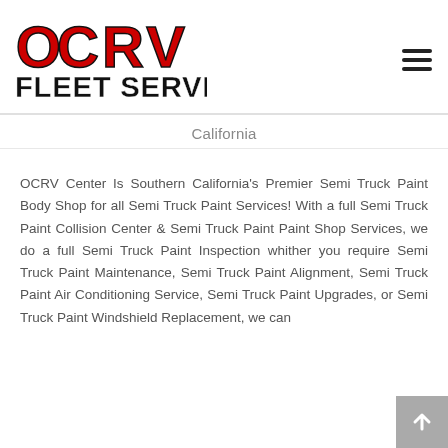[Figure (logo): OCRV Fleet Services logo with red OCRV letters and black bold FLEET SERVICES text below]
California
OCRV Center Is Southern California's Premier Semi Truck Paint Body Shop for all Semi Truck Paint Services! With a full Semi Truck Paint Collision Center & Semi Truck Paint Paint Shop Services, we do a full Semi Truck Paint Inspection whither you require Semi Truck Paint Maintenance, Semi Truck Paint Alignment, Semi Truck Paint Air Conditioning Service, Semi Truck Paint Upgrades, or Semi Truck Paint Windshield Replacement, we can